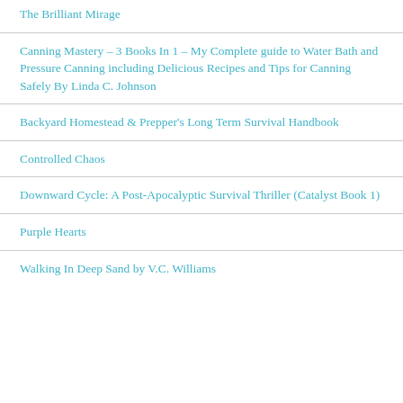The Brilliant Mirage
Canning Mastery – 3 Books In 1 – My Complete guide to Water Bath and Pressure Canning including Delicious Recipes and Tips for Canning Safely By Linda C. Johnson
Backyard Homestead & Prepper's Long Term Survival Handbook
Controlled Chaos
Downward Cycle: A Post-Apocalyptic Survival Thriller (Catalyst Book 1)
Purple Hearts
Walking In Deep Sand by V.C. Williams